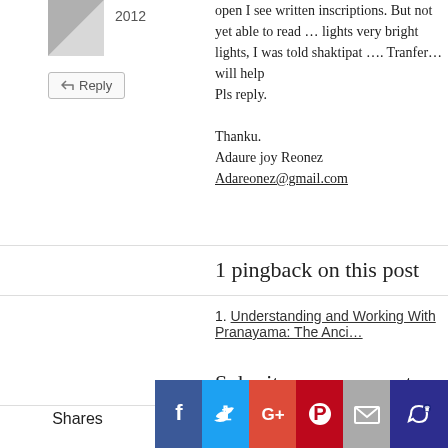2012
open I see written inscriptions. But not yet able to read … lights very bright lights, I was told shaktipat …. Tranfer… will help
Pls reply.

Thanku.
Adaure joy Reonez
Adareonez@gmail.com
1 pingback on this post
Understanding and Working With Pranayama: The Anci…
Submit your comment
Your name
Shares